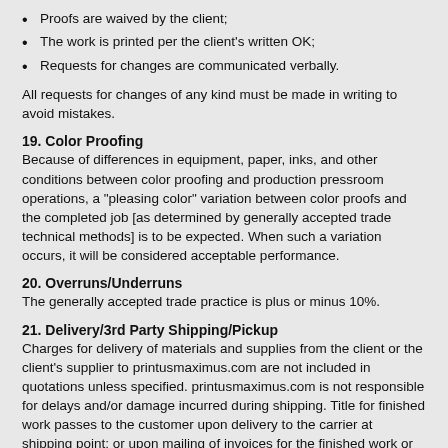Proofs are waived by the client;
The work is printed per the client's written OK;
Requests for changes are communicated verbally.
All requests for changes of any kind must be made in writing to avoid mistakes.
19. Color Proofing
Because of differences in equipment, paper, inks, and other conditions between color proofing and production pressroom operations, a "pleasing color" variation between color proofs and the completed job [as determined by generally accepted trade technical methods] is to be expected. When such a variation occurs, it will be considered acceptable performance.
20. Overruns/Underruns
The generally accepted trade practice is plus or minus 10%.
21. Delivery/3rd Party Shipping/Pickup
Charges for delivery of materials and supplies from the client or the client's supplier to printusmaximus.com are not included in quotations unless specified. printusmaximus.com is not responsible for delays and/or damage incurred during shipping. Title for finished work passes to the customer upon delivery to the carrier at shipping point; or upon mailing of invoices for the finished work or its segments, whichever comes first. If the "pickup" option is selected when the order is originally placed you will have 15 calendar days to retrieve materials. If more than 15 calendar days elapses the order is considered abandoned and Printus Maximus has the right to discard materials, unless